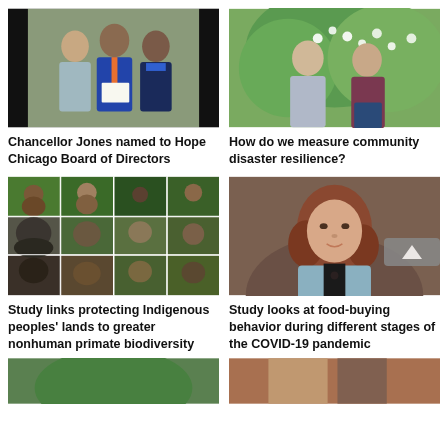[Figure (photo): Three people standing together, one holding a document, in front of a stone backdrop]
Chancellor Jones named to Hope Chicago Board of Directors
[Figure (photo): A man and a woman standing outdoors under a flowering tree]
How do we measure community disaster resilience?
[Figure (photo): Collage of various nonhuman primates in natural settings]
Study links protecting Indigenous peoples' lands to greater nonhuman primate biodiversity
[Figure (photo): Headshot of a woman with reddish-brown hair wearing a light blue jacket]
Study looks at food-buying behavior during different stages of the COVID-19 pandemic
[Figure (photo): Partial bottom row image left]
[Figure (photo): Partial bottom row image right]